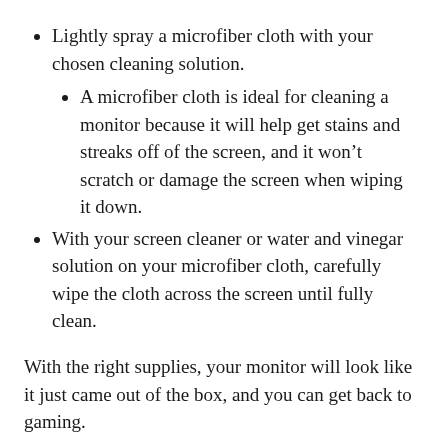Lightly spray a microfiber cloth with your chosen cleaning solution.
A microfiber cloth is ideal for cleaning a monitor because it will help get stains and streaks off of the screen, and it won’t scratch or damage the screen when wiping it down.
With your screen cleaner or water and vinegar solution on your microfiber cloth, carefully wipe the cloth across the screen until fully clean.
With the right supplies, your monitor will look like it just came out of the box, and you can get back to gaming.